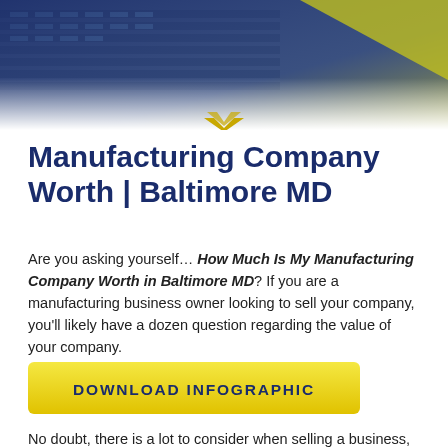[Figure (photo): Header photo of a building exterior with dark blue and yellow-green gradient overlay, with a downward-pointing chevron/arrow at the bottom center]
Manufacturing Company Worth | Baltimore MD
Are you asking yourself… How Much Is My Manufacturing Company Worth in Baltimore MD? If you are a manufacturing business owner looking to sell your company, you'll likely have a dozen question regarding the value of your company.
[Figure (other): Yellow gradient button with text DOWNLOAD INFOGRAPHIC in dark navy bold uppercase letters]
No doubt, there is a lot to consider when selling a business, take a look at the below to focus on finding your staffing company value.